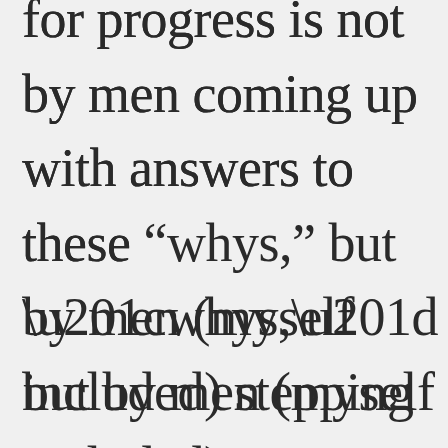for progress is not by men coming up with answers to these “whys,” but by men (myself included) stepping